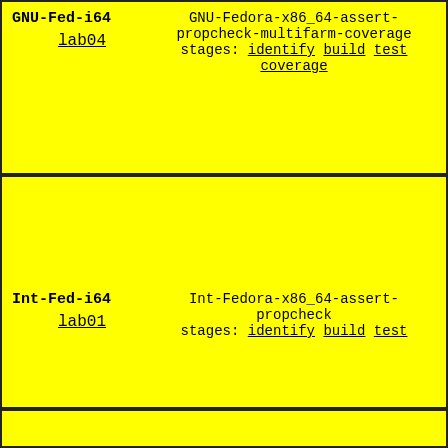GNU-Fed-i64
lab04
GNU-Fedora-x86_64-assert-propcheck-multifarm-coverage
stages: identify build test coverage
Int-Fed-i64
lab01
Int-Fedora-x86_64-assert-propcheck
stages: identify build test